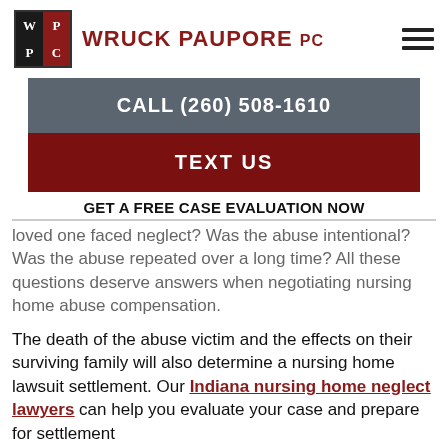Wruck Paupore PC
CALL (260) 508-1610
TEXT US
GET A FREE CASE EVALUATION NOW
intentional? Was the abuse repeated over a long time? All these questions deserve answers when negotiating nursing home abuse compensation.
The death of the abuse victim and the effects on their surviving family will also determine a nursing home lawsuit settlement. Our Indiana nursing home neglect lawyers can help you evaluate your case and prepare for settlement